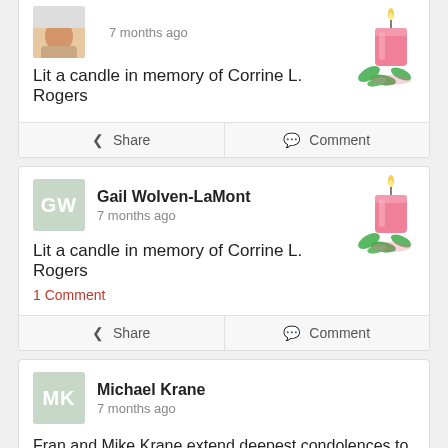[Figure (illustration): Pink candle with green leaves decoration]
Lit a candle in memory of Corrine L. Rogers
Share    Comment
[Figure (illustration): Profile avatar placeholder with initials GW]
Gail Wolven-LaMont
7 months ago
[Figure (illustration): Pink candle with green leaves decoration]
Lit a candle in memory of Corrine L. Rogers
1 Comment
Share    Comment
[Figure (illustration): Profile avatar placeholder with initials MK]
Michael Krane
7 months ago
Fran and Mike Krane extend deepest condolences to Ginger Rogers and her family. We know your mom must have been a wonderful person because her daughter